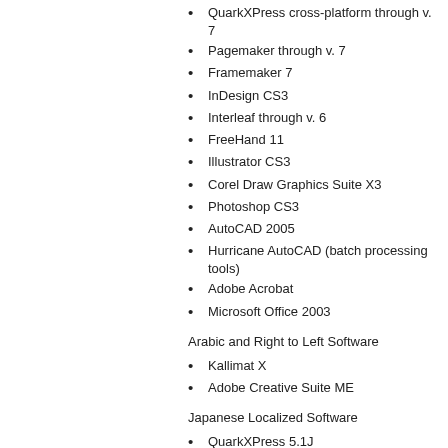QuarkXPress cross-platform through v. 7
Pagemaker through v. 7
Framemaker 7
InDesign CS3
Interleaf through v. 6
FreeHand 11
Illustrator CS3
Corel Draw Graphics Suite X3
Photoshop CS3
AutoCAD 2005
Hurricane AutoCAD (batch processing tools)
Adobe Acrobat
Microsoft Office 2003
Arabic and Right to Left Software
Kallimat X
Adobe Creative Suite ME
Japanese Localized Software
QuarkXPress 5.1J
Pagemaker 7.0J
EG Word
Illustrator 10.0J
Freehand 9.0A
Chinese Localized Software